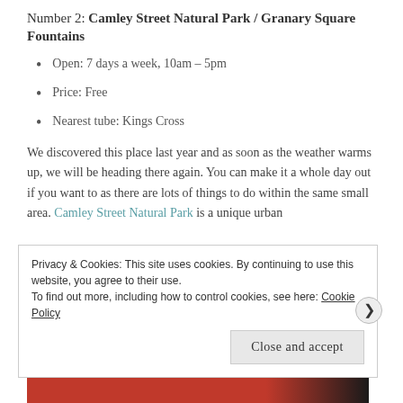Number 2: Camley Street Natural Park / Granary Square Fountains
Open: 7 days a week, 10am – 5pm
Price: Free
Nearest tube: Kings Cross
We discovered this place last year and as soon as the weather warms up, we will be heading there again. You can make it a whole day out if you want to as there are lots of things to do within the same small area. Camley Street Natural Park is a unique urban
Privacy & Cookies: This site uses cookies. By continuing to use this website, you agree to their use. To find out more, including how to control cookies, see here: Cookie Policy
Close and accept